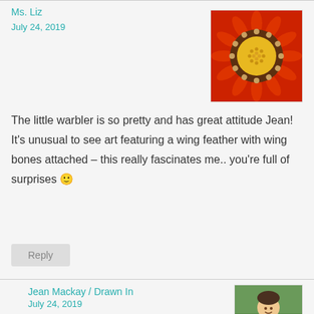Ms. Liz
July 24, 2019
[Figure (photo): Close-up photo of a red flower with yellow center]
The little warbler is so pretty and has great attitude Jean! It’s unusual to see art featuring a wing feather with wing bones attached – this really fascinates me.. you’re full of surprises 🙂
Reply
Jean Mackay / Drawn In
July 24, 2019
[Figure (photo): Photo of a woman outdoors, smiling, wearing a dark vest]
I’m glad to be full of surprises. The feathers attach to the bone and this wing showed that pretty well with the two remaining feathers. The body of the